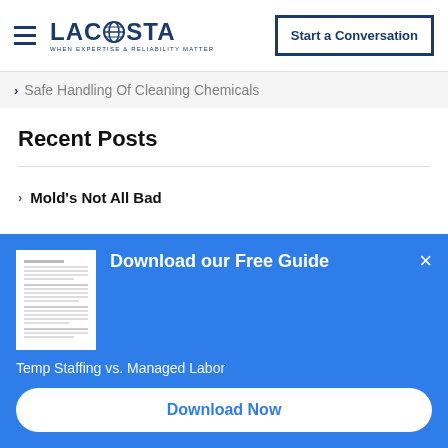LACOSTA — When Expertise & Reliability Matter | Start a Conversation
> Safe Handling Of Cleaning Chemicals
Recent Posts
> Mold's Not All Bad
[Figure (screenshot): Download our Free Guide popup banner with document thumbnail, title, subtitle 'Temp Staffing vs. Managed Labor', and Download Now button on blue background]
Temp Staffing vs. Managed Labor
Download Now